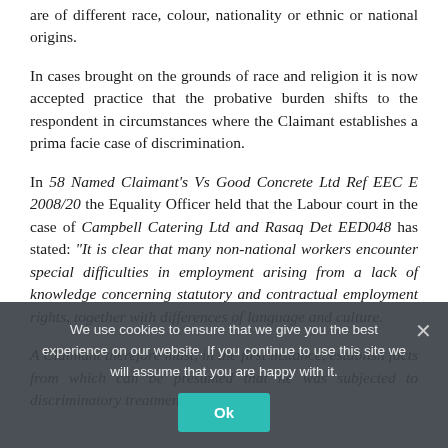are of different race, colour, nationality or ethnic or national origins.
In cases brought on the grounds of race and religion it is now accepted practice that the probative burden shifts to the respondent in circumstances where the Claimant establishes a prima facie case of discrimination.
In 58 Named Claimant's Vs Good Concrete Ltd Ref EEC E 2008/20 the Equality Officer held that the Labour court in the case of Campbell Catering Ltd and Rasaq Det EED048 has stated: "It is clear that many non-national workers encounter special difficulties in employment arising from a lack of knowledge concerning statutory and contractual employment rights, together with differences of language and culture.
A Claimant therefore must, in the first instance, establish facts from which can be presumed that he was subjected to discriminatory treatment on the